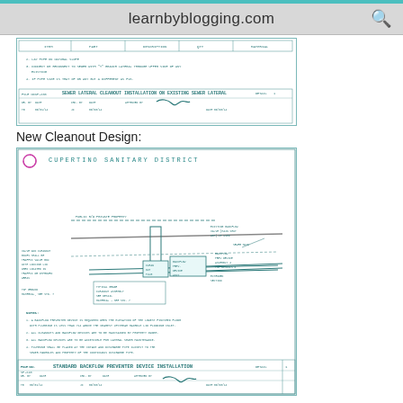learnbyblogging.com
[Figure (engineering-diagram): Partial engineering drawing showing sewer lateral cleanout installation on existing sewer lateral with title block, notes, and approval signature. Cupertino Sanitary District standard drawing.]
New Cleanout Design:
[Figure (engineering-diagram): Cupertino Sanitary District standard drawing for backflow preventer device installation. Shows detailed technical diagram with pipe connections, cleanout placement, property line, notes section, and title block with approval signature dated 06/03/14.]